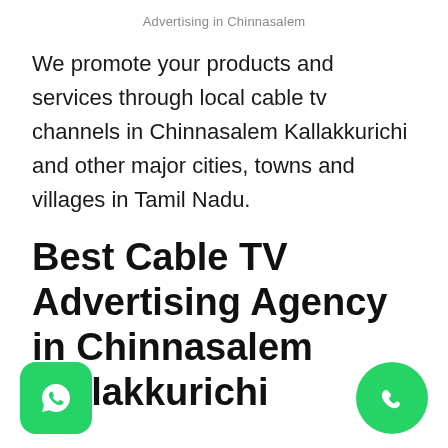Advertising in Chinnasalem
We promote your products and services through local cable tv channels in Chinnasalem Kallakkurichi and other major cities, towns and villages in Tamil Nadu.
Best Cable TV Advertising Agency in Chinnasalem Kallakkurichi